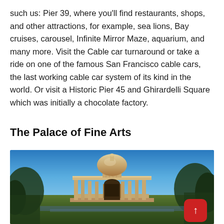such us: Pier 39, where you'll find restaurants, shops, and other attractions, for example, sea lions, Bay cruises, carousel, Infinite Mirror Maze, aquarium, and many more. Visit the Cable car turnaround or take a ride on one of the famous San Francisco cable cars, the last working cable car system of its kind in the world. Or visit a Historic Pier 45 and Ghirardelli Square which was initially a chocolate factory.
The Palace of Fine Arts
[Figure (photo): Photograph of the Palace of Fine Arts in San Francisco showing the large domed rotunda with classical Roman/Greek architecture, colonnades, and an archway entrance, set against a clear blue sky with trees in the foreground and background.]